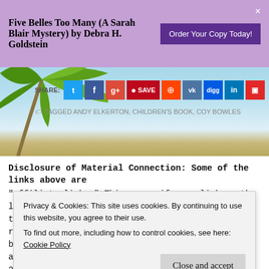Five Belles Too Many (A Sarah Blair Mystery) by Debra H. Goldstein
[Figure (screenshot): Order Your Copy Today! button]
[Figure (screenshot): Beach background with palm leaves and social share buttons. Share buttons: Twitter, Facebook, Google+, Pinterest (SAVE), Reddit, VK, Digg, LinkedIn, Flipboard. Tagged: ANDY ELKERTON, CHILDREN'S BOOK, COY BOWLES]
Disclosure of Material Connection: Some of the links above are
"affiliate links." This means if you click on the link and purchase
Privacy & Cookies: This site uses cookies. By continuing to use this website, you agree to their use. To find out more, including how to control cookies, see here: Cookie Policy
Close and accept
255: "Guides Concerning the Use of Endorsements and